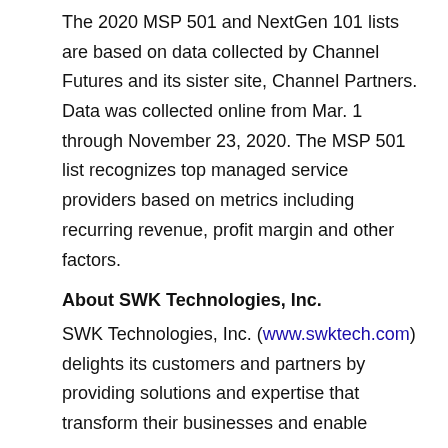The 2020 MSP 501 and NextGen 101 lists are based on data collected by Channel Futures and its sister site, Channel Partners. Data was collected online from Mar. 1 through November 23, 2020. The MSP 501 list recognizes top managed service providers based on metrics including recurring revenue, profit margin and other factors.
About SWK Technologies, Inc.
SWK Technologies, Inc. (www.swktech.com) delights its customers and partners by providing solutions and expertise that transform their businesses and enable